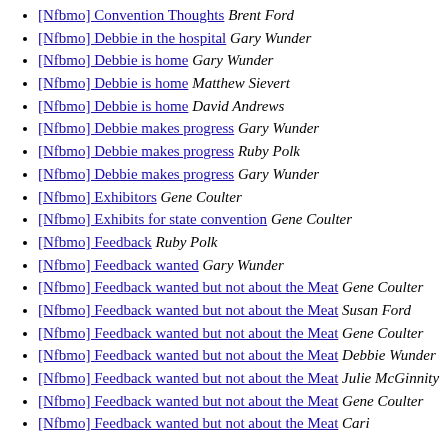[Nfbmo] Convention Thoughts  Brent Ford
[Nfbmo] Debbie in the hospital  Gary Wunder
[Nfbmo] Debbie is home  Gary Wunder
[Nfbmo] Debbie is home  Matthew Sievert
[Nfbmo] Debbie is home  David Andrews
[Nfbmo] Debbie makes progress  Gary Wunder
[Nfbmo] Debbie makes progress  Ruby Polk
[Nfbmo] Debbie makes progress  Gary Wunder
[Nfbmo] Exhibitors  Gene Coulter
[Nfbmo] Exhibits for state convention  Gene Coulter
[Nfbmo] Feedback  Ruby Polk
[Nfbmo] Feedback wanted  Gary Wunder
[Nfbmo] Feedback wanted but not about the Meat  Gene Coulter
[Nfbmo] Feedback wanted but not about the Meat  Susan Ford
[Nfbmo] Feedback wanted but not about the Meat  Gene Coulter
[Nfbmo] Feedback wanted but not about the Meat  Debbie Wunder
[Nfbmo] Feedback wanted but not about the Meat  Julie McGinnity
[Nfbmo] Feedback wanted but not about the Meat  Gene Coulter
[Nfbmo] Feedback wanted but not about the Meat  Cari